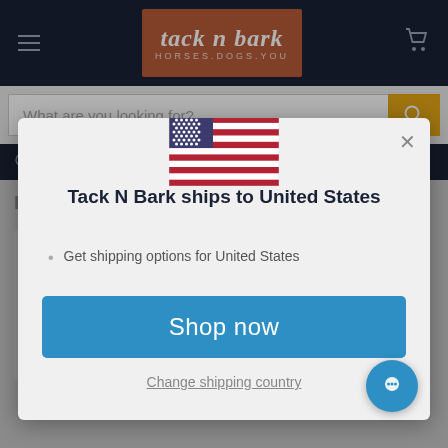[Figure (screenshot): E-commerce website screenshot for Tack N Bark (horses.dogs.you) showing a shipping country modal dialog with US flag, title 'Tack N Bark ships to United States', a 'Get shipping options for United States' list item, a blue 'Shop now' button, and a 'Change shipping country' link. Background shows search bar and Related Products section.]
Tack N Bark ships to United States
Get shipping options for United States
Shop now
Change shipping country